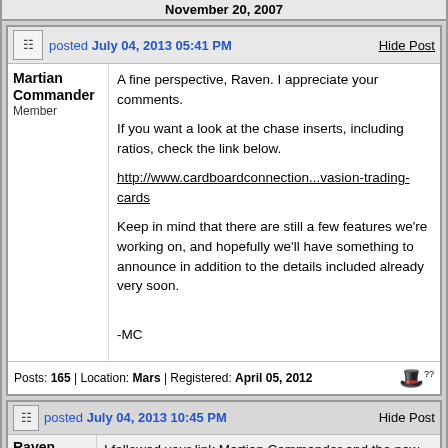November 20, 2007
posted July 04, 2013 05:41 PM
Martian Commander
Member
A fine perspective, Raven. I appreciate your comments.

If you want a look at the chase inserts, including ratios, check the link below.

http://www.cardboardconnection...vasion-trading-cards

Keep in mind that there are still a few features we're working on, and hopefully we'll have something to announce in addition to the details included already very soon.


-MC
Posts: 165 | Location: Mars | Registered: April 05, 2012
posted July 04, 2013 10:45 PM
Raven
Platinum Card Talk Member
I followed your link Martian Commander and the new set really seems to have a lot of variety in it. Got to admit I'm looking forward to it more now than I did when it was first announced.